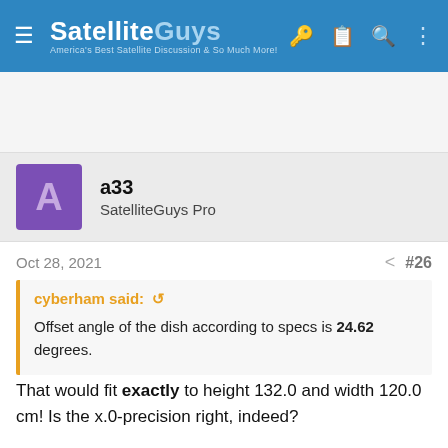SatelliteGuys — America's Best Satellite Discussion & So Much More!
a33 — SatelliteGuys Pro
Oct 28, 2021  #26
cyberham said: ↺
Offset angle of the dish according to specs is 24.62 degrees.
That would fit exactly to height 132.0 and width 120.0 cm! Is the x.0-precision right, indeed?